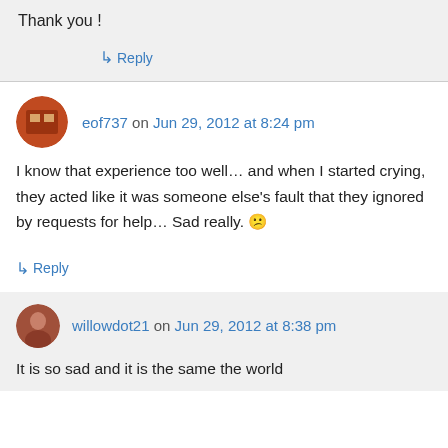Thank you !
↳ Reply
eof737 on Jun 29, 2012 at 8:24 pm
I know that experience too well… and when I started crying, they acted like it was someone else's fault that they ignored by requests for help… Sad really. 😕
↳ Reply
willowdot21 on Jun 29, 2012 at 8:38 pm
It is so sad and it is the same the world